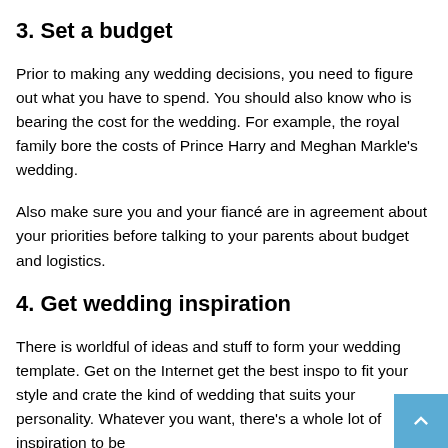3. Set a budget
Prior to making any wedding decisions, you need to figure out what you have to spend. You should also know who is bearing the cost for the wedding. For example, the royal family bore the costs of Prince Harry and Meghan Markle's wedding.
Also make sure you and your fiancé are in agreement about your priorities before talking to your parents about budget and logistics.
4. Get wedding inspiration
There is worldful of ideas and stuff to form your wedding template. Get on the Internet get the best inspo to fit your style and crate the kind of wedding that suits your personality. Whatever you want, there's a whole lot of inspiration to be